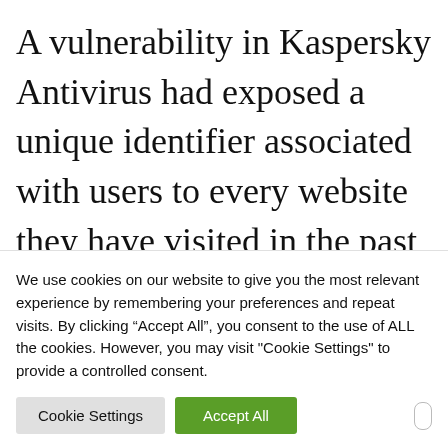A vulnerability in Kaspersky Antivirus had exposed a unique identifier associated with users to every website they have visited in the past 4 years.
A vulnerability in the Kaspersky Antivirus software, tracked as CVE-2019-8286, had exposed a unique identifier associated with its users to every website...
We use cookies on our website to give you the most relevant experience by remembering your preferences and repeat visits. By clicking “Accept All”, you consent to the use of ALL the cookies. However, you may visit "Cookie Settings" to provide a controlled consent.